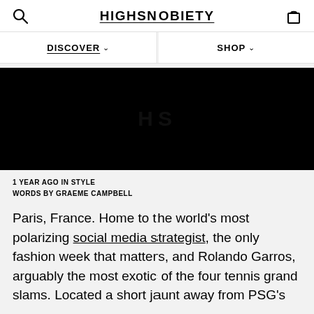HIGHSNOBIETY
DISCOVER ∨   SHOP ∨
[Figure (photo): Black hero image with faint HS watermark text in the center]
1 YEAR AGO IN STYLE
WORDS BY GRAEME CAMPBELL
Paris, France. Home to the world's most polarizing social media strategist, the only fashion week that matters, and Rolando Garros, arguably the most exotic of the four tennis grand slams. Located a short jaunt away from PSG's